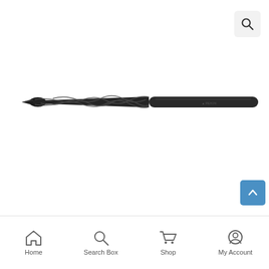[Figure (photo): A black high-speed steel twist drill bit photographed horizontally against a white background, showing spiral flutes and a pointed tip on the left and cylindrical shank on the right with a small brand logo near the shank end.]
Home | Search Box | Shop | My Account